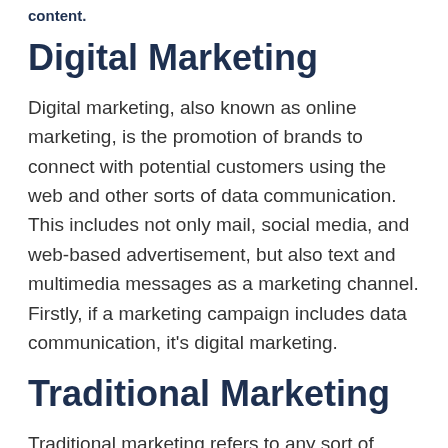content.
Digital Marketing
Digital marketing, also known as online marketing, is the promotion of brands to connect with potential customers using the web and other sorts of data communication. This includes not only mail, social media, and web-based advertisement, but also text and multimedia messages as a marketing channel. Firstly, if a marketing campaign includes data communication, it's digital marketing.
Traditional Marketing
Traditional marketing refers to any sort of marketing that may not be online. This